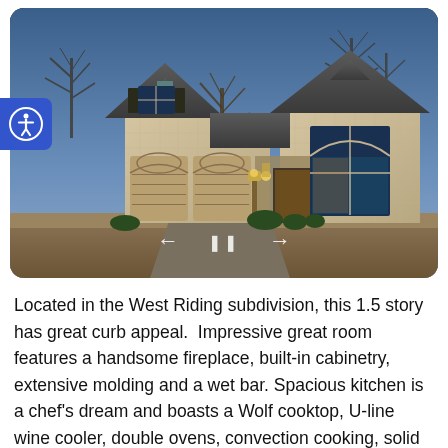[Figure (photo): Exterior photo of a 1.5-story French country-style stone home with arched garage doors, large arched windows, a covered entry porch, bare winter trees in background, and a dusk/blue-sky backdrop. Navigation arrows and pause button overlay at bottom center.]
Located in the West Riding subdivision, this 1.5 story has great curb appeal.  Impressive great room features a handsome fireplace, built-in cabinetry, extensive molding and a wet bar. Spacious kitchen is a chef's dream and boasts a Wolf cooktop, U-line wine cooler, double ovens, convection cooking, solid surface counters and an island that offers ample prep space and